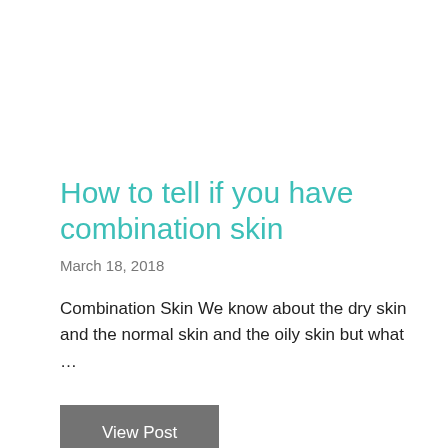How to tell if you have combination skin
March 18, 2018
Combination Skin We know about the dry skin and the normal skin and the oily skin but what …
View Post